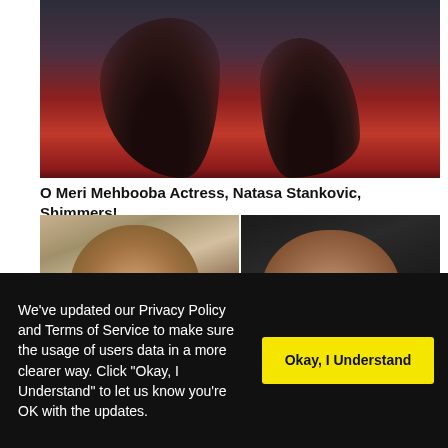[Figure (photo): Woman with long dark curly hair wearing a red sweater, photographed against a dark background, cropped from upper torso]
O Meri Mehbooba Actress, Natasa Stankovic, Shimmers!
[Figure (photo): Side-by-side photos: left shows a man in white traditional attire with serious expression in outdoor setting; right shows a man in dark jacket raising one finger against dark background]
We've updated our Privacy Policy and Terms of Service to make sure the usage of users data in a more clearer way. Click "Okay, I Understand" to let us know you're OK with the updates.
Okay, I Understand